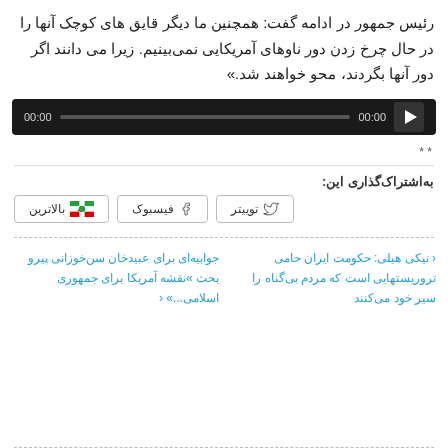رئیس جمهور در ادامه گفت: همچنین ما دیگر قایق های کوچک آنها را در حال چرخ زدن دور ناوهای آمریکایی نمی‌بینیم. زیرا می دانند اگر دور آنها بگردند، محو خواهند شد.»
[Figure (other): Audio player with dark background, showing 00:00 timestamp on left, progress bar in middle, 00:00 on right, and play button on far right]
* *
به‌اشتراک‌گذاری این:
توییتر
فیسبوک
بالاترین
جوابیه‌ای برای عبیدخان سن‌خوزانی پیرو بحث »نقشه آمریکا برای جمهوری اسلامی...» ‹
‹ نیکی هیلی: حکومت ایران حامی تروریستهایی است که مردم بی‌گناه را سیر خود می‌کنند